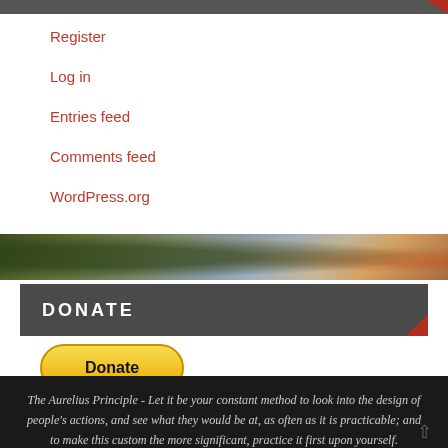Register
Log in
Entries feed
Comments feed
WordPress.org
DONATE
[Figure (other): PayPal Donate button — yellow rounded button with bold black 'Donate' text]
The Aurelius Principle - Let it be your constant method to look into the design of people's actions, and see what they would be at, as often as it is practicable; and to make this custom the more significant, practice it first upon yourself.